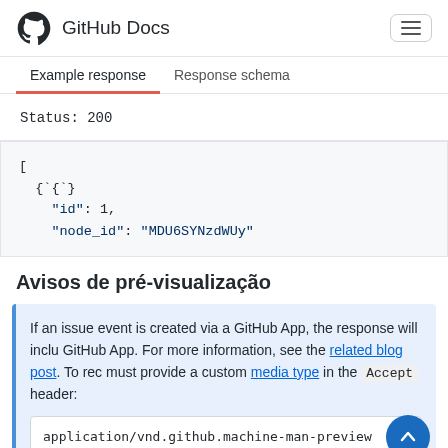GitHub Docs
Example response | Response schema
Status: 200
[
  {
    "id": 1,
    "node_id": "MDU6SYNzdWUy"
Avisos de pré-visualização
If an issue event is created via a GitHub App, the response will inclu GitHub App. For more information, see the related blog post. To rec must provide a custom media type in the Accept header:
application/vnd.github.machine-man-preview